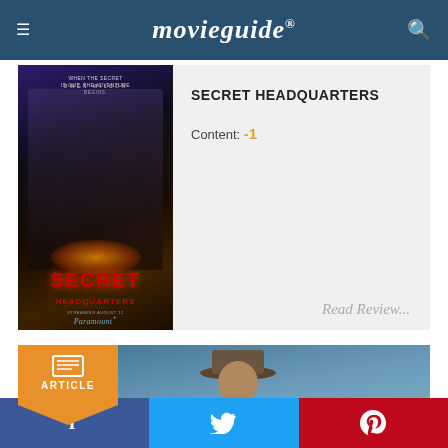movieguide®
[Figure (photo): Movie poster for Secret Headquarters (Paramount+) featuring Owen Wilson in a superhero suit with children, orange glow energy effect]
SECRET HEADQUARTERS
Content: -1
Read Review...
[Figure (photo): Article card with orange badge labelled ARTICLE and a man wearing a cowboy hat against a blue sky background]
f  (Twitter bird icon)  P